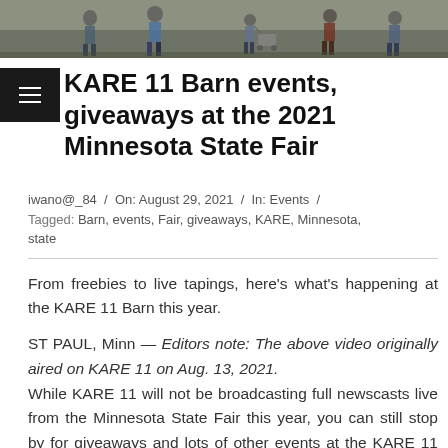[Figure (photo): Photo strip at top showing people walking at what appears to be an outdoor event or fair, cropped to show legs and lower bodies.]
KARE 11 Barn events, giveaways at the 2021 Minnesota State Fair
iwano@_84 / On: August 29, 2021 / In: Events / Tagged: Barn, events, Fair, giveaways, KARE, Minnesota, state
From freebies to live tapings, here's what's happening at the KARE 11 Barn this year.
ST PAUL, Minn — Editors note: The above video originally aired on KARE 11 on Aug. 13, 2021. While KARE 11 will not be broadcasting full newscasts live from the Minnesota State Fair this year, you can still stop by for giveaways and lots of other events at the KARE 11 Barn.